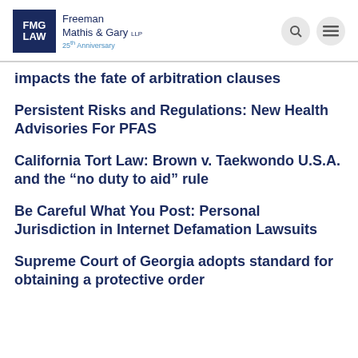FMG LAW — Freeman Mathis & Gary LLP 25th Anniversary
impacts the fate of arbitration clauses
Persistent Risks and Regulations: New Health Advisories For PFAS
California Tort Law: Brown v. Taekwondo U.S.A. and the “no duty to aid” rule
Be Careful What You Post: Personal Jurisdiction in Internet Defamation Lawsuits
Supreme Court of Georgia adopts standard for obtaining a protective order